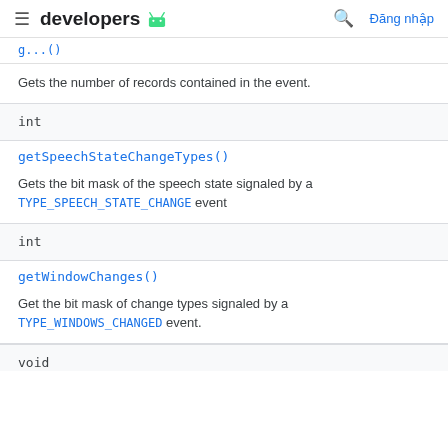developers [android logo] [search] Đăng nhập
g...()
Gets the number of records contained in the event.
int
getSpeechStateChangeTypes()
Gets the bit mask of the speech state signaled by a TYPE_SPEECH_STATE_CHANGE event
int
getWindowChanges()
Get the bit mask of change types signaled by a TYPE_WINDOWS_CHANGED event.
void